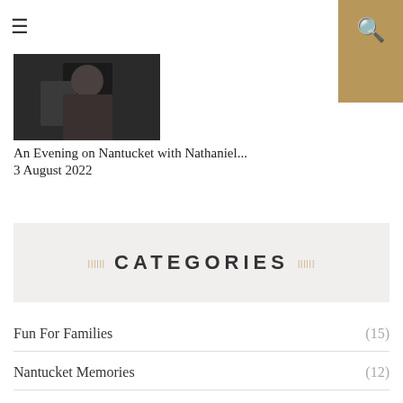[Figure (screenshot): Hamburger menu icon (three horizontal lines) in top left navigation bar]
[Figure (screenshot): Gold search box with magnifying glass icon in top right corner]
[Figure (photo): Small thumbnail photo showing a person in dark setting]
An Evening on Nantucket with Nathaniel...
3 August 2022
CATEGORIES
Fun For Families (15)
Nantucket Memories (12)
Nantucket Tips (30)
Today's Nantucket (298)